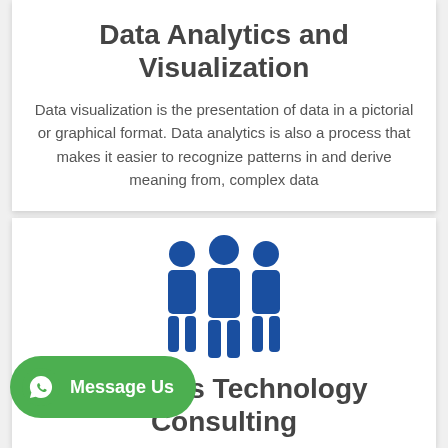Data Analytics and Visualization
Data visualization is the presentation of data in a pictorial or graphical format. Data analytics is also a process that makes it easier to recognize patterns in and derive meaning from, complex data
[Figure (illustration): Blue icon showing three people/team members standing together]
Business Technology Consulting
Focuses on providing advice to tackle business and technology problems, aimed at achieving